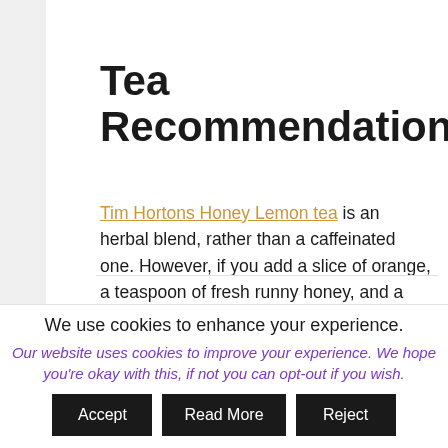Tea Recommendation
Tim Hortons Honey Lemon tea is an herbal blend, rather than a caffeinated one. However, if you add a slice of orange, a teaspoon of fresh runny honey, and a cinnamon stick, it transforms into a delicious and soothing festive tea. I recently put the recipe up on my Instagram account – you can follow me @izzysden.
We use cookies to enhance your experience.
Our website uses cookies to improve your experience. We hope you're okay with this, if not you can opt-out if you wish.
Accept | Read More | Reject